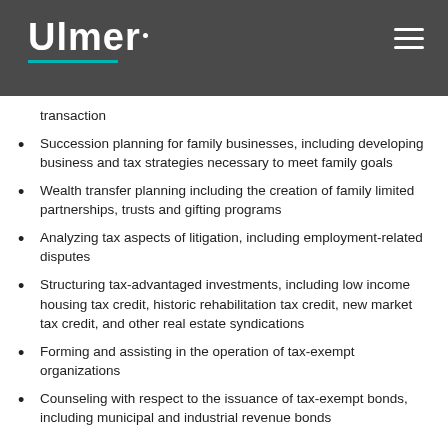Ulmer
transaction
Succession planning for family businesses, including developing business and tax strategies necessary to meet family goals
Wealth transfer planning including the creation of family limited partnerships, trusts and gifting programs
Analyzing tax aspects of litigation, including employment-related disputes
Structuring tax-advantaged investments, including low income housing tax credit, historic rehabilitation tax credit, new market tax credit, and other real estate syndications
Forming and assisting in the operation of tax-exempt organizations
Counseling with respect to the issuance of tax-exempt bonds, including municipal and industrial revenue bonds